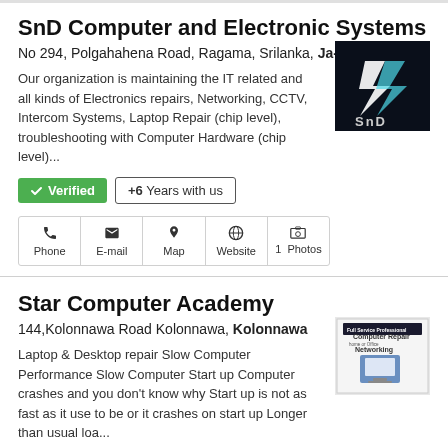SnD Computer and Electronic Systems
No 294, Polgahahena Road, Ragama, Srilanka, Ja-Ela
Our organization is maintaining the IT related and all kinds of Electronics repairs, Networking, CCTV, Intercom Systems, Laptop Repair (chip level), troubleshooting with Computer Hardware (chip level)...
[Figure (logo): SnD logo with lightning bolt on dark background]
✓ Verified   +6 Years with us
Phone   E-mail   Map   Website   1 Photos
Star Computer Academy
144,Kolonnawa Road Kolonnawa, Kolonnawa
Laptop & Desktop repair Slow Computer Performance Slow Computer Start up Computer crashes and you don't know why Start up is not as fast as it use to be or it crashes on start up Longer than usual loa...
[Figure (photo): Computer repair service image with desktop computer]